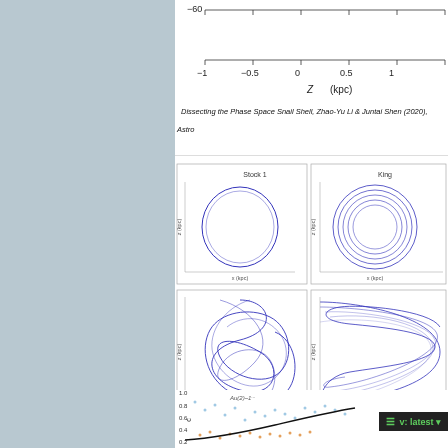[Figure (continuous-plot): Partial bottom of a phase space snail shell plot showing Z (kpc) axis from -1 to 1, with y-axis label showing -60]
Dissecting the Phase Space Snail Shell, Zhao-Yu Li & Juntai Shen (2020), Astro...
[Figure (continuous-plot): Four orbital trajectory plots showing circular and complex oscillating orbits in blue. Top-left labeled 'Stock 1', top-right labeled 'King...'. Bottom two show more complex Lissajous-like orbital paths.]
One Star to Tag Them All (OSTTA): I. Radial velocities and chemical abundances... open clusters, R. Carrera, L. Casamiquela, A. Bragaglia, E. Carretta, J. Carbajo-...
[Figure (scatter-plot): Partial scatter plot showing colored dots (blue, orange) with a black trend line, y-axis labeled 'c' ranging 0.2 to 1.0, with text annotation 'Au(2)_-1^{...}']